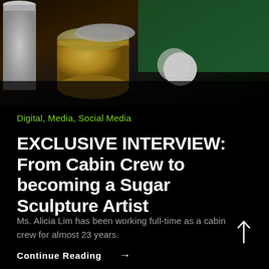[Figure (photo): Close-up photo of craft/art supplies on a dark surface, including an open metal tin, white containers, and green cutting mat]
Digital, Media, Social Media
EXCLUSIVE INTERVIEW: From Cabin Crew to becoming a Sugar Sculpture Artist
Ms. Alicia Lim has been working full-time as a cabin crew for almost 23 years.
Continue Reading →